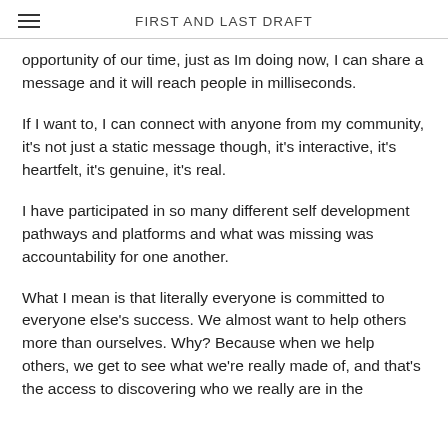FIRST AND LAST DRAFT
opportunity of our time, just as Im doing now, I can share a message and it will reach people in milliseconds.
If I want to, I can connect with anyone from my community, it's not just a static message though, it's interactive, it's heartfelt, it's genuine, it's real.
I have participated in so many different self development pathways and platforms and what was missing was accountability for one another.
What I mean is that literally everyone is committed to everyone else's success. We almost want to help others more than ourselves. Why? Because when we help others, we get to see what we're really made of, and that's the access to discovering who we really are in the world.